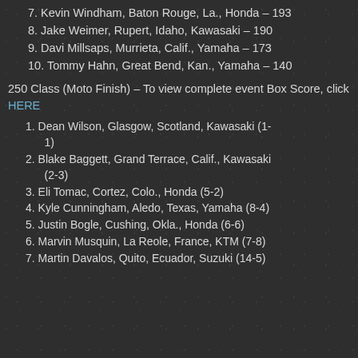7. Kevin Windham, Baton Rouge, La., Honda – 193
8. Jake Weimer, Rupert, Idaho, Kawasaki – 190
9. Davi Millsaps, Murrieta, Calif., Yamaha – 173
10. Tommy Hahn, Great Bend, Kan., Yamaha – 140
250 Class (Moto Finish) – To view complete event Box Score, click HERE
1. Dean Wilson, Glasgow, Scotland, Kawasaki (1-1)
2. Blake Baggett, Grand Terrace, Calif., Kawasaki (2-3)
3. Eli Tomac, Cortez, Colo., Honda (5-2)
4. Kyle Cunningham, Aledo, Texas, Yamaha (8-4)
5. Justin Bogle, Cushing, Okla., Honda (6-6)
6. Marvin Musquin, La Reole, France, KTM (7-8)
7. Martin Davalos, Quito, Ecuador, Suzuki (14-5)